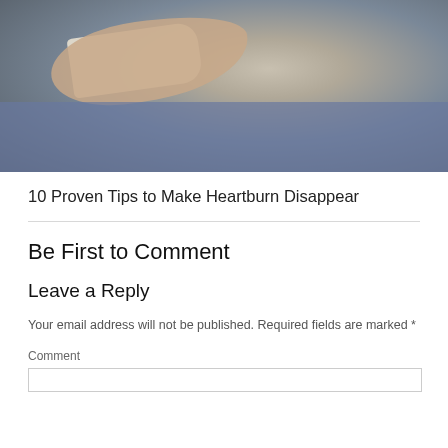[Figure (photo): Person holding an open book, wearing jeans and a grey long-sleeve shirt, seated]
10 Proven Tips to Make Heartburn Disappear
Be First to Comment
Leave a Reply
Your email address will not be published. Required fields are marked *
Comment